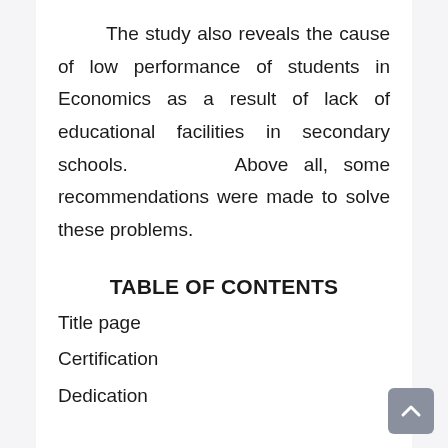The study also reveals the cause of low performance of students in Economics as a result of lack of educational facilities in secondary schools. Above all, some recommendations were made to solve these problems.
TABLE OF CONTENTS
Title page
Certification
Dedication